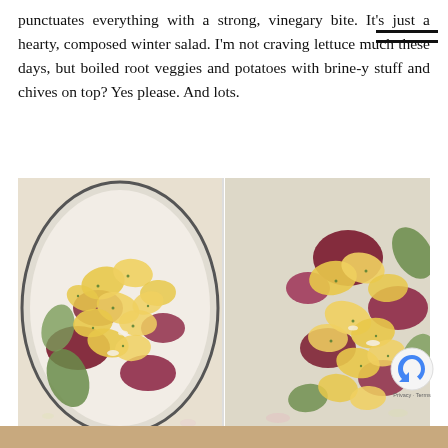punctuates everything with a strong, vinegary bite. It's just a hearty, composed winter salad. I'm not craving lettuce much these days, but boiled root veggies and potatoes with brine-y stuff and chives on top? Yes please. And lots.
[Figure (photo): Two side-by-side photos of a winter salad in a bowl with potatoes, beets, avocado, and chives on a white background]